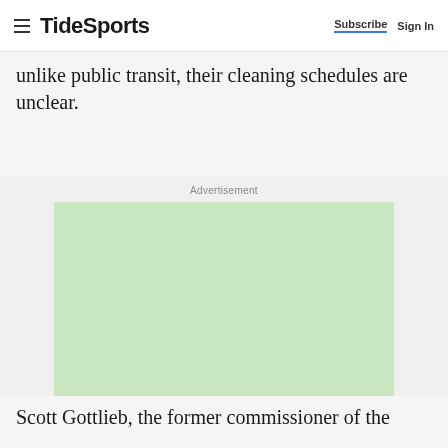TideSports | Subscribe | Sign In
unlike public transit, their cleaning schedules are unclear.
Advertisement
[Figure (other): Advertisement placeholder box with light green background]
Scott Gottlieb, the former commissioner of the